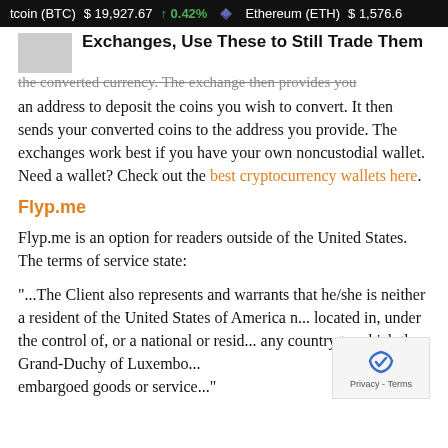tcoin (BTC)  $19,927.67  ↑0.42%   Ethereum (ETH)  $1,576.6
Exchanges, Use These to Still Trade Them
the converted currency. The exchange then provides you an address to deposit the coins you wish to convert. It then sends your converted coins to the address you provide. The exchanges work best if you have your own noncustodial wallet. Need a wallet? Check out the best cryptocurrency wallets here.
Flyp.me
Flyp.me is an option for readers outside of the United States. The terms of service state:
"...The Client also represents and warrants that he/she is neither a resident of the United States of America n... located in, under the control of, or a national or resid... any country to which the Grand-Duchy of Luxembo... embargoed goods or service..."